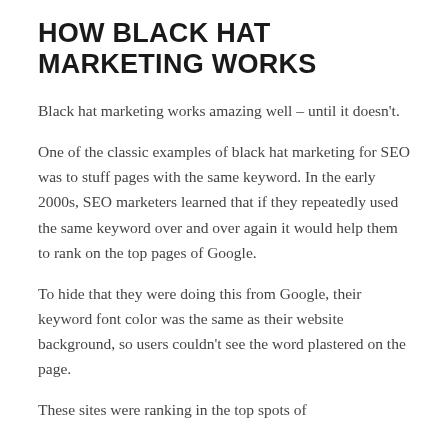HOW BLACK HAT MARKETING WORKS
Black hat marketing works amazing well – until it doesn't.
One of the classic examples of black hat marketing for SEO was to stuff pages with the same keyword. In the early 2000s, SEO marketers learned that if they repeatedly used the same keyword over and over again it would help them to rank on the top pages of Google.
To hide that they were doing this from Google, their keyword font color was the same as their website background, so users couldn't see the word plastered on the page.
These sites were ranking in the top spots of